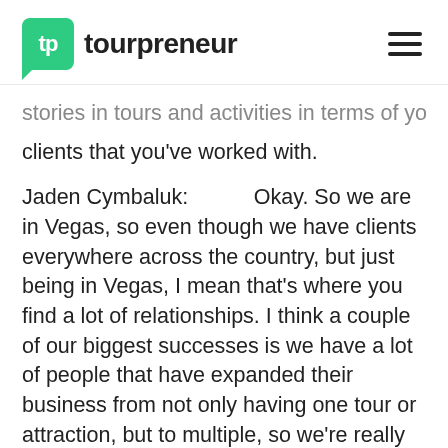tp tourpreneur
stories in tours and activities in terms of your clients that you've worked with.
Jaden Cymbaluk:        Okay. So we are in Vegas, so even though we have clients everywhere across the country, but just being in Vegas, I mean that's where you find a lot of relationships. I think a couple of our biggest successes is we have a lot of people that have expanded their business from not only having one tour or attraction, but to multiple, so we're really good on that growth side of hey, we've had successful businesses to the point where one